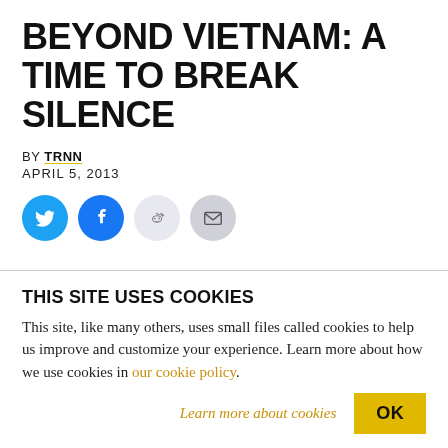BEYOND VIETNAM: A TIME TO BREAK SILENCE
BY TRNN
APRIL 5, 2013
[Figure (other): Social sharing icons: Twitter (blue circle), Facebook (blue circle), Reddit (light grey circle), Email (grey circle)]
THIS SITE USES COOKIES
This site, like many others, uses small files called cookies to help us improve and customize your experience. Learn more about how we use cookies in our cookie policy.
Learn more about cookies
OK